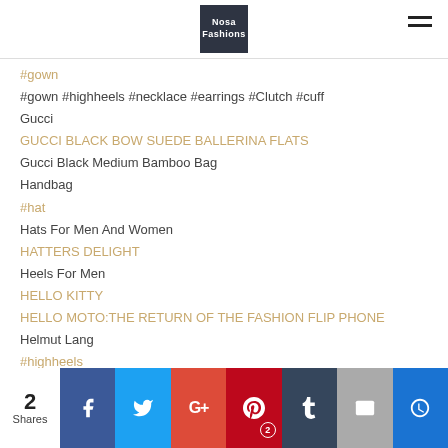Nosa Fashions
#gown
#gown #highheels #necklace #earrings #Clutch #cuff
Gucci
GUCCI BLACK BOW SUEDE BALLERINA FLATS
Gucci Black Medium Bamboo Bag
Handbag
#hat
Hats For Men And Women
HATTERS DELIGHT
Heels For Men
HELLO KITTY
HELLO MOTO:THE RETURN OF THE FASHION FLIP PHONE
Helmut Lang
#highheels
2 Shares — Share buttons: Facebook, Twitter, Google+, Pinterest (2), Tumblr, Email, Other